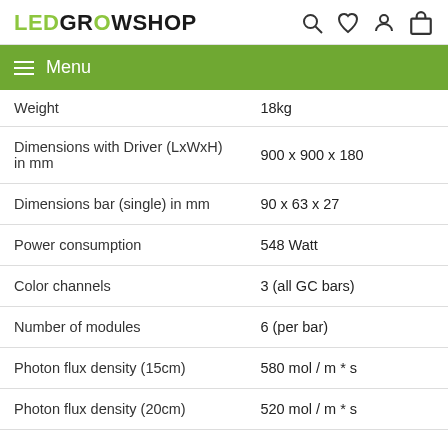LED GROWSHOP
| Property | Value |
| --- | --- |
| Weight | 18kg |
| Dimensions with Driver (LxWxH) in mm | 900 x 900 x 180 |
| Dimensions bar (single) in mm | 90 x 63 x 27 |
| Power consumption | 548 Watt |
| Color channels | 3 (all GC bars) |
| Number of modules | 6 (per bar) |
| Photon flux density (15cm) | 580 mol / m * s |
| Photon flux density (20cm) | 520 mol / m * s |